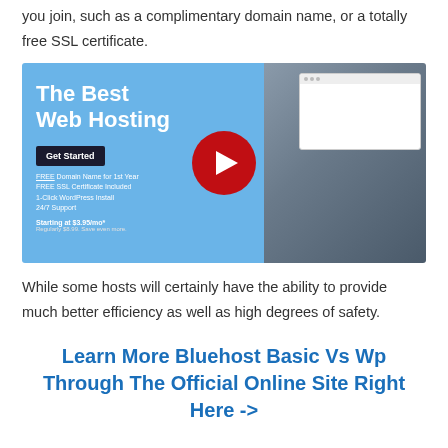you join, such as a complimentary domain name, or a totally free SSL certificate.
[Figure (screenshot): Video thumbnail for web hosting service showing 'The Best Web Hosting' text on blue background with a person with afro hair on the right side, and a red YouTube play button in the center.]
While some hosts will certainly have the ability to provide much better efficiency as well as high degrees of safety.
Learn More Bluehost Basic Vs Wp Through The Official Online Site Right Here ->